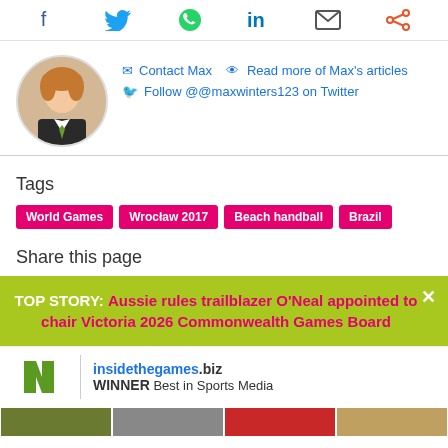[Figure (other): Social sharing icons bar: Facebook, Twitter, WhatsApp, LinkedIn, Email, Share]
[Figure (photo): Circular headshot photo of Max Winters, a man in a suit with a green tie]
Contact Max  Read more of Max's articles
Follow @@maxwinters123 on Twitter
Tags
World Games  Wrocław 2017  Beach handball  Brazil
Share this page
TOP STORY: Aussie rules trailblazer O'Neal appointed to chair Victoria 2026 Commonwealth Games Board
[Figure (logo): Sports Business Awards 2017 logo with green N mark]
insidethegames.biz WINNER Best in Sports Media